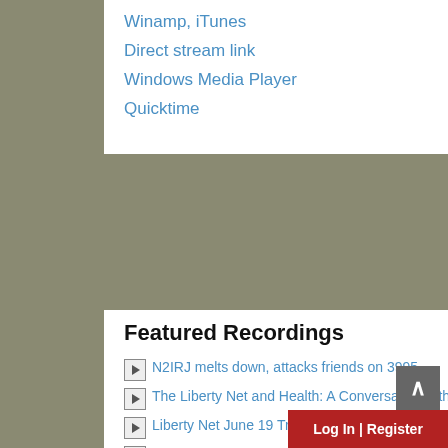Winamp, iTunes
Direct stream link
Windows Media Player
Quicktime
Featured Recordings
N2IRJ melts down, attacks friends on 3995
The Liberty Net and Health: A Conversation with W1WCR
Liberty Net June 19 Tribute to W1WCR, SK
An Interview with W1WCR
W1WCR QSO with KB2DMD
W1WCR on the Informal Liberty Net (with brief unid jamming by KG4ZXC)
3950.net stream announcement re W1WCR, SK
W1WCR clip collection
WB4AIO full daylight test transmission via K3FEF remote SDR 2020-0607
NU9N and N9VR et al. discuss influence of eSSB 2019-1202
WA1HLR and WB4AIO discuss philosop...